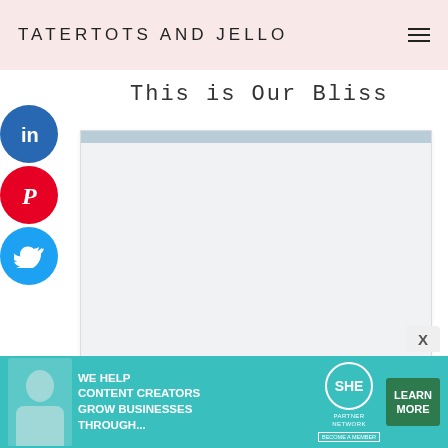TATERTOTS AND JELLO
This is Our Bliss
[Figure (screenshot): Social share sidebar with LinkedIn, Pinterest, and Twitter circular buttons on the left side of the page]
[Figure (screenshot): Content card placeholder with a light blue top bar and grey body area]
[Figure (advertisement): SHE Partner Network banner ad in teal: 'We help content creators grow businesses through... Learn More. Become a Member.']